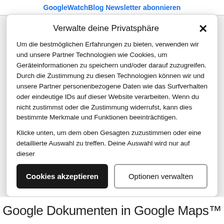GoogleWatchBlog Newsletter abonnieren
Verwalte deine Privatsphäre
Um die bestmöglichen Erfahrungen zu bieten, verwenden wir und unsere Partner Technologien wie Cookies, um Geräteinformationen zu speichern und/oder darauf zuzugreifen. Durch die Zustimmung zu diesen Technologien können wir und unsere Partner personenbezogene Daten wie das Surfverhalten oder eindeutige IDs auf dieser Website verarbeiten. Wenn du nicht zustimmst oder die Zustimmung widerrufst, kann dies bestimmte Merkmale und Funktionen beeinträchtigen.
Klicke unten, um dem oben Gesagten zuzustimmen oder eine detaillierte Auswahl zu treffen. Deine Auswahl wird nur auf dieser
Lese mehr über diese Zwecke
Cookies akzeptieren
Optionen verwalten
Google Dokumenten in Google Maps™